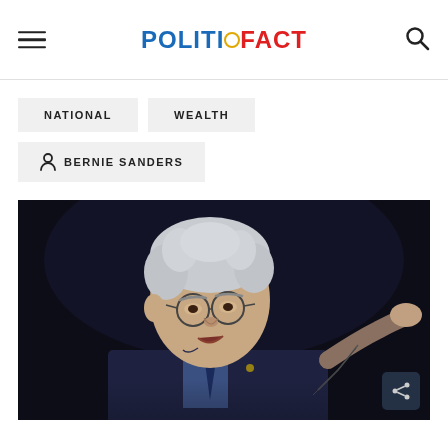POLITIFACT
NATIONAL
WEALTH
BERNIE SANDERS
[Figure (photo): Bernie Sanders speaking at a podium, with white hair, glasses, wearing a dark suit and blue shirt, gesturing with his right hand, photographed against a dark background]